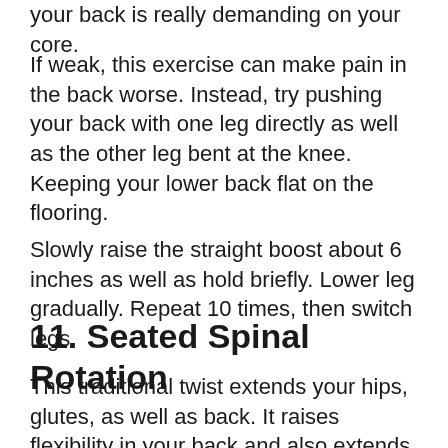your back is really demanding on your core.
If weak, this exercise can make pain in the back worse. Instead, try pushing your back with one leg directly as well as the other leg bent at the knee. Keeping your lower back flat on the flooring.
Slowly raise the straight boost about 6 inches as well as hold briefly. Lower leg gradually. Repeat 10 times, then switch legs.
11. Seated Spinal Rotation
This traditional twist extends your hips, glutes, as well as back. It raises flexibility in your back and also extends your abdominals, shoulders, and neck. The stress of this